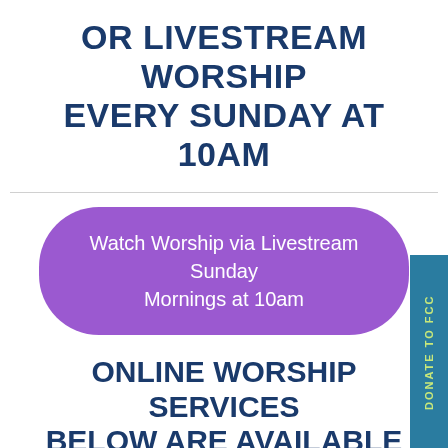OR LIVESTREAM WORSHIP EVERY SUNDAY AT 10AM
Watch Worship via Livestream Sunday Mornings at 10am
ONLINE WORSHIP SERVICES BELOW ARE AVAILABLE ANYTIME
Accessing the current Sunday worship service is always easy by just clicking the link in the daily emails that week